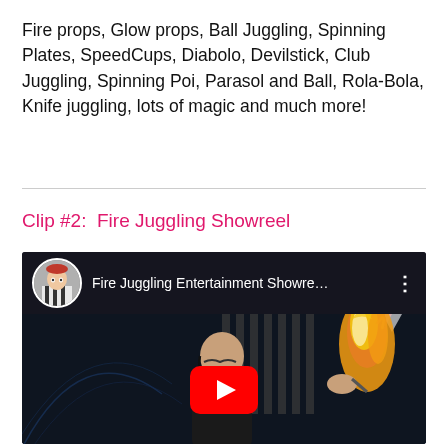Fire props, Glow props, Ball Juggling, Spinning Plates, SpeedCups, Diabolo, Devilstick, Club Juggling, Spinning Poi, Parasol and Ball, Rola-Bola, Knife juggling, lots of magic and much more!
Clip #2:  Fire Juggling Showreel
[Figure (screenshot): Embedded YouTube video thumbnail showing 'Fire Juggling Entertainment Showre...' with a bald performer holding a fire prop on stage, a circular avatar of a performer in a red hat and striped costume in the top-left, and a red YouTube play button in the center.]